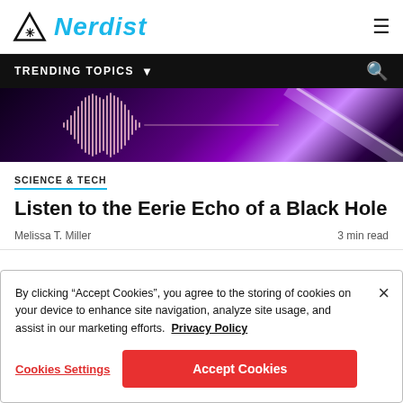Nerdist
[Figure (illustration): Audio waveform visualization on a dark purple/violet background with a bright diagonal light beam — Nerdist hero image for black hole article]
SCIENCE & TECH
Listen to the Eerie Echo of a Black Hole
Melissa T. Miller    3 min read
By clicking “Accept Cookies”, you agree to the storing of cookies on your device to enhance site navigation, analyze site usage, and assist in our marketing efforts.  Privacy Policy